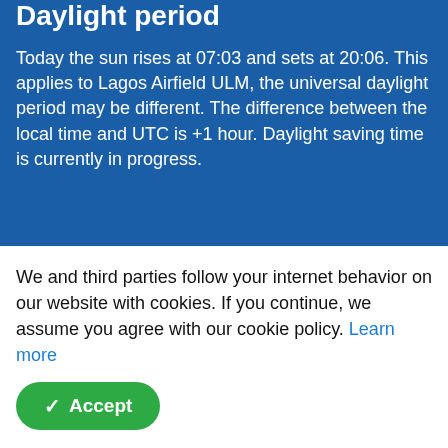Daylight period
Today the sun rises at 07:03 and sets at 20:06. This applies to Lagos Airfield ULM, the universal daylight period may be different. The difference between the local time and UTC is +1 hour. Daylight saving time is currently in progress.
Donate
Will you help us to keep Metar-Taf.com running?
Your contribution helps further development of the site and
We and third parties follow your internet behavior on our website with cookies. If you continue, we assume you agree with our cookie policy. Learn more
Accept